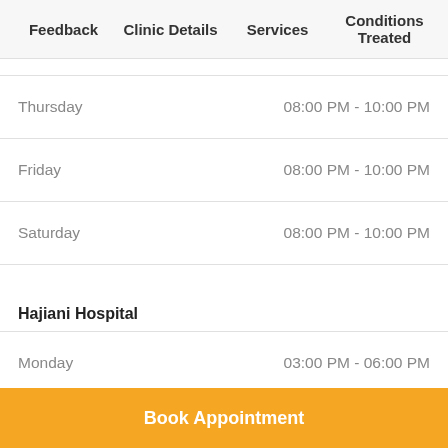Feedback  Clinic Details  Services  Conditions Treated
| Day | Time |
| --- | --- |
| Thursday | 08:00 PM - 10:00 PM |
| Friday | 08:00 PM - 10:00 PM |
| Saturday | 08:00 PM - 10:00 PM |
Hajiani Hospital
| Day | Time |
| --- | --- |
| Monday | 03:00 PM - 06:00 PM |
| Tuesday | 03:00 PM - 06:00 PM |
| Wednesday | 03:00 PM - 06:00 PM |
Book Appointment